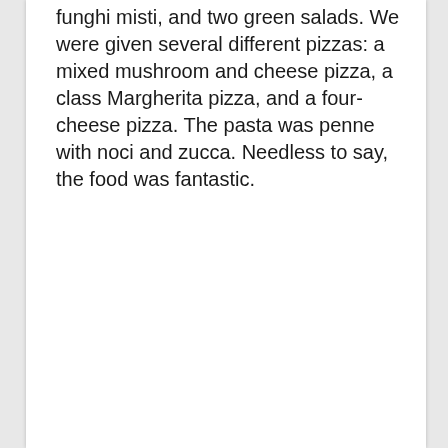funghi misti, and two green salads. We were given several different pizzas: a mixed mushroom and cheese pizza, a class Margherita pizza, and a four-cheese pizza. The pasta was penne with noci and zucca. Needless to say, the food was fantastic.